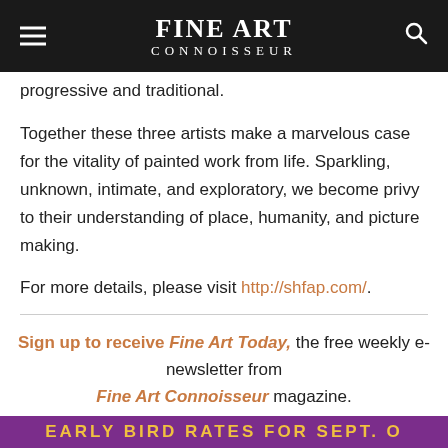FINE ART CONNOISSEUR
progressive and traditional.
Together these three artists make a marvelous case for the vitality of painted work from life. Sparkling, unknown, intimate, and exploratory, we become privy to their understanding of place, humanity, and picture making.
For more details, please visit http://shfap.com/.
Sign up to receive Fine Art Today, the free weekly e-newsletter from Fine Art Connoisseur magazine.